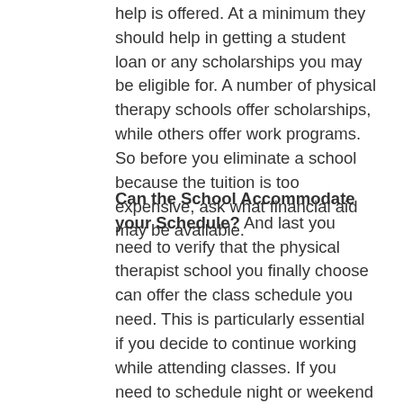help is offered. At a minimum they should help in getting a student loan or any scholarships you may be eligible for. A number of physical therapy schools offer scholarships, while others offer work programs. So before you eliminate a school because the tuition is too expensive, ask what financial aid may be available.
Can the School Accommodate your Schedule? And last you need to verify that the physical therapist school you finally choose can offer the class schedule you need. This is particularly essential if you decide to continue working while attending classes. If you need to schedule night or weekend classes in the Scottsboro AL area, confirm that they are offered. If you can only attend part-time, verify if that is an alternative and how many credit hours or courses you would need to enroll in. Also, ask what the procedure is for making up any classes that you may miss because of work, illness or family obligations.